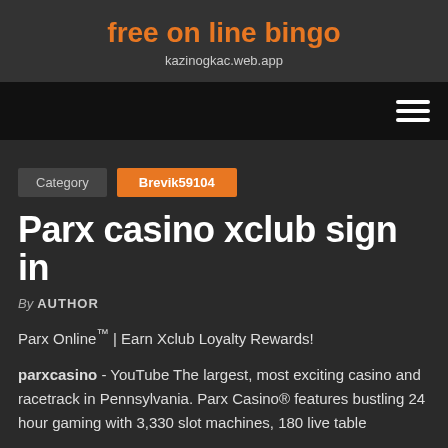free on line bingo
kazinogkac.web.app
[Figure (other): Navigation bar with hamburger menu icon (three horizontal white lines) on black background]
Category   Brevik59104
Parx casino xclub sign in
By AUTHOR
Parx Online™ | Earn Xclub Loyalty Rewards!
parxcasino - YouTube The largest, most exciting casino and racetrack in Pennsylvania. Parx Casino® features bustling 24 hour gaming with 3,330 slot machines, 180 live table